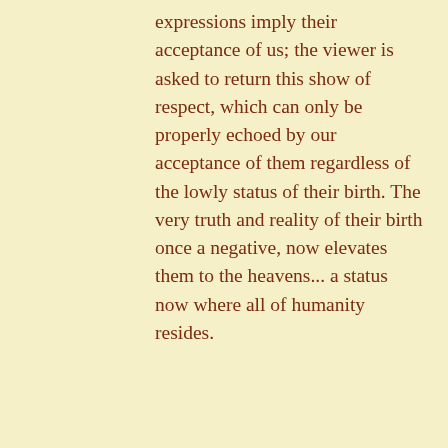expressions imply their acceptance of us; the viewer is asked to return this show of respect, which can only be properly echoed by our acceptance of them regardless of the lowly status of their birth. The very truth and reality of their birth once a negative, now elevates them to the heavens... a status now where all of humanity resides.